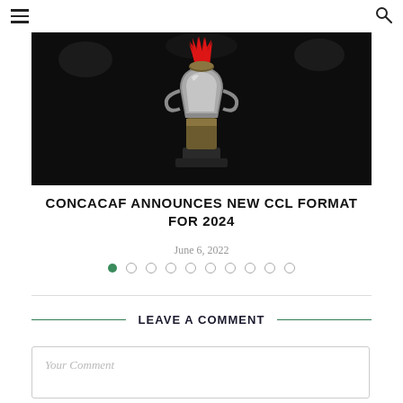☰ [menu icon] [search icon]
[Figure (photo): A trophy with red ribbons on top, photographed in a dark stadium setting. The trophy appears to be the CONCACAF Champions League trophy.]
CONCACAF ANNOUNCES NEW CCL FORMAT FOR 2024
June 6, 2022
• ○ ○ ○ ○ ○ ○ ○ ○ ○ (pagination dots, first active)
LEAVE A COMMENT
Your Comment